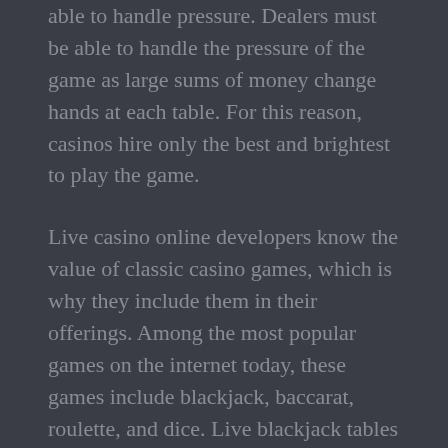able to handle pressure. Dealers must be able to handle the pressure of the game as large sums of money change hands at each table. For this reason, casinos hire only the best and brightest to play the game.
Live casino online developers know the value of classic casino games, which is why they include them in their offerings. Among the most popular games on the internet today, these games include blackjack, baccarat, roulette, and dice. Live blackjack tables are especially popular, since they allow players to place side bets and interact with real dealers. Aside from the classic favorites, live casino online developers also offer unusual games that are not offered in traditional Las Vegas casinos.
Live blackjack is perhaps the most popular game at live casinos. It is an excellent option for beginners as the dealer interacts with the players. Live blackjack...